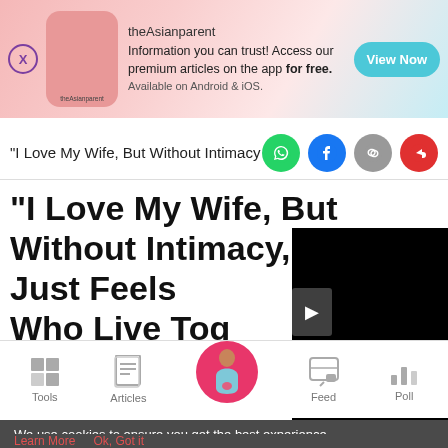[Figure (screenshot): theAsianparent app advertisement banner with pink gradient background, logo image, text about premium articles, and View Now button]
"I Love My Wife, But Without Intimacy, It Just Feels ... Who Live Tog...
[Figure (screenshot): Share bar with WhatsApp, Facebook, link, and share social icons]
[Figure (screenshot): Black video overlay panel partially covering article title]
[Figure (screenshot): Bottom navigation bar with Tools, Articles, center pregnancy icon, Feed, and Poll items]
We use cookies to ensure you get the best experience.
Learn More    Ok, Got it